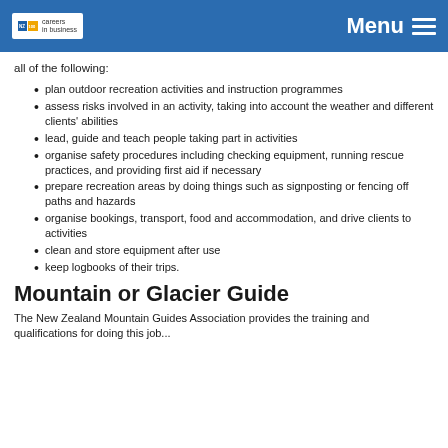Menu
all of the following:
plan outdoor recreation activities and instruction programmes
assess risks involved in an activity, taking into account the weather and different clients' abilities
lead, guide and teach people taking part in activities
organise safety procedures including checking equipment, running rescue practices, and providing first aid if necessary
prepare recreation areas by doing things such as signposting or fencing off paths and hazards
organise bookings, transport, food and accommodation, and drive clients to activities
clean and store equipment after use
keep logbooks of their trips.
Mountain or Glacier Guide
The New Zealand Mountain Guides Association provides the training and qualifications for doing this job...